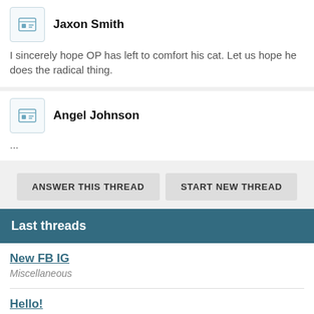Jaxon Smith
I sincerely hope OP has left to comfort his cat. Let us hope he does the radical thing.
Angel Johnson
...
ANSWER THIS THREAD
START NEW THREAD
Last threads
New FB IG
Miscellaneous
Hello!
Miscellaneous
Feet thread